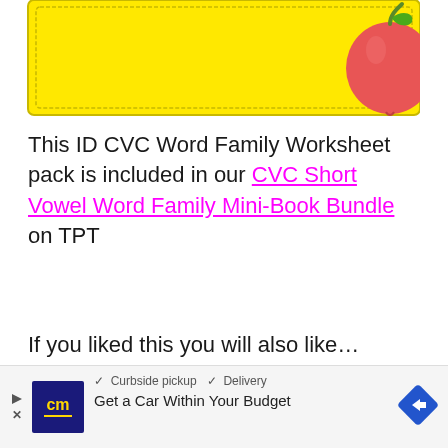[Figure (illustration): Top portion of a yellow-bordered educational worksheet card with a red apple illustration in the upper right corner]
This ID CVC Word Family Worksheet pack is included in our CVC Short Vowel Word Family Mini-Book Bundle on TPT
If you liked this you will also like…
[Figure (illustration): Advertisement banner: cm logo (yellow on dark blue), checkmarks for Curbside pickup and Delivery, text Get a Car Within Your Budget, blue diamond arrow icon on right]